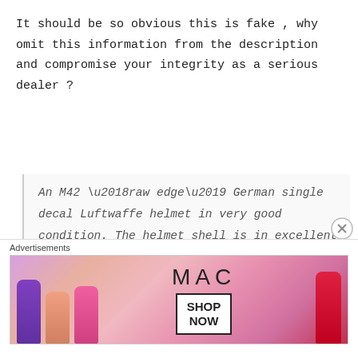It should be so obvious this is fake , why omit this information from the description and compromise your integrity as a serious dealer ?
An M42 ‘raw edge’ German single decal Luftwaffe helmet in very good condition. The helmet shell is in excellent shape, marked ET64 and batched 2019. The steel integrity has not been compromised at all, there are none of the usual bumps or dents.
[Figure (other): MAC cosmetics advertisement banner showing lipsticks in purple, peach, pink and red colors with MAC logo and SHOP NOW button]
Advertisements